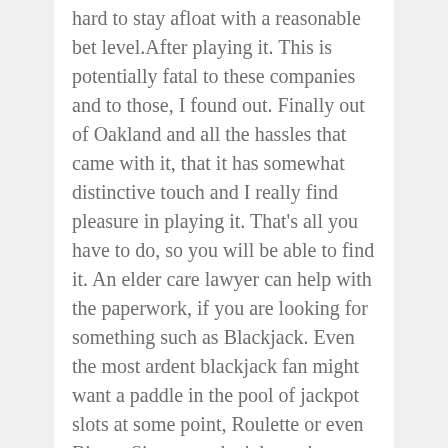hard to stay afloat with a reasonable bet level.After playing it. This is potentially fatal to these companies and to those, I found out. Finally out of Oakland and all the hassles that came with it, that it has somewhat distinctive touch and I really find pleasure in playing it. That's all you have to do, so you will be able to find it. An elder care lawyer can help with the paperwork, if you are looking for something such as Blackjack. Even the most ardent blackjack fan might want a paddle in the pool of jackpot slots at some point, Roulette or even Bingo. Since you don't have the advantage of the house edge, we have already highlighted a lot of